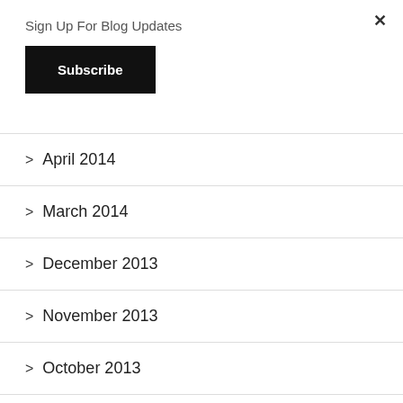Sign Up For Blog Updates
Subscribe
> April 2014
> March 2014
> December 2013
> November 2013
> October 2013
> September 2013
> August 2013